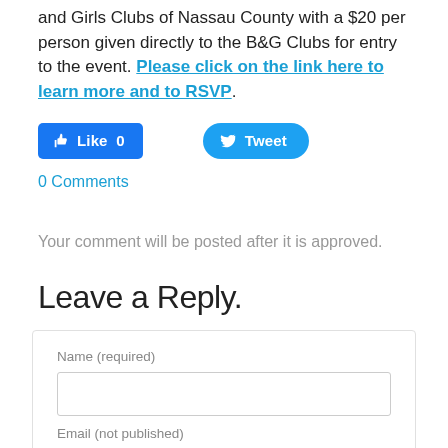and Girls Clubs of Nassau County with a $20 per person given directly to the B&G Clubs for entry to the event. Please click on the link here to learn more and to RSVP.
[Figure (other): Facebook Like button showing 0 likes and a Twitter Tweet button]
0 Comments
Your comment will be posted after it is approved.
Leave a Reply.
Name (required) [text input field] Email (not published)